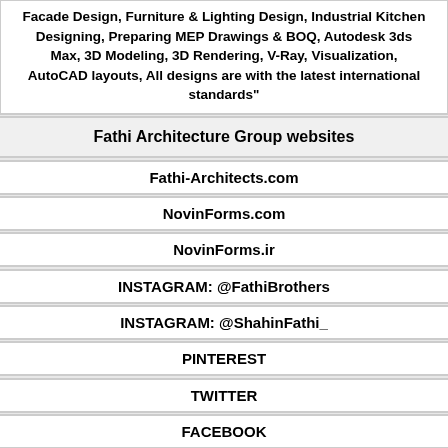Facade Design, Furniture & Lighting Design, Industrial Kitchen Designing, Preparing MEP Drawings & BOQ, Autodesk 3ds Max, 3D Modeling, 3D Rendering, V-Ray, Visualization, AutoCAD layouts, All designs are with the latest international standards"
Fathi Architecture Group websites
Fathi-Architects.com
NovinForms.com
NovinForms.ir
INSTAGRAM:  @FathiBrothers
INSTAGRAM:  @ShahinFathi_
PINTEREST
TWITTER
FACEBOOK